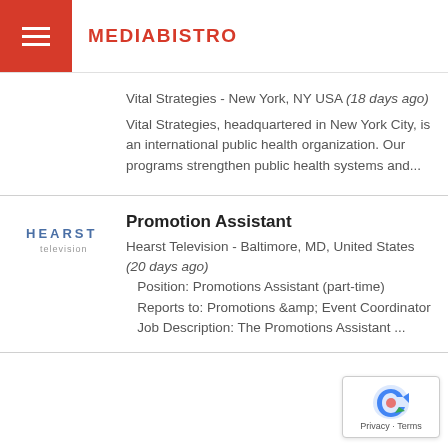MEDIABISTRO
Vital Strategies - New York, NY USA (18 days ago)
Vital Strategies, headquartered in New York City, is an international public health organization. Our programs strengthen public health systems and...
Promotion Assistant
Hearst Television - Baltimore, MD, United States (20 days ago)
   Position: Promotions Assistant (part-time)    Reports to: Promotions &amp; Event Coordinator    Job Description: The Promotions Assistant ...